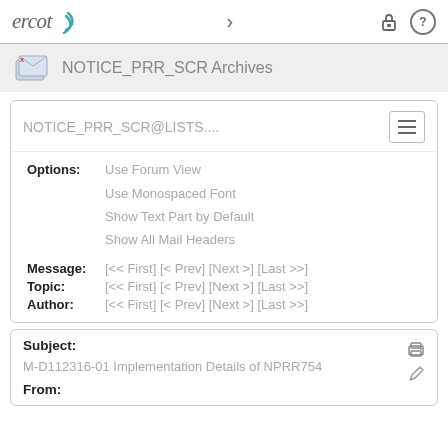ercot > [lock icon] [help icon]
NOTICE_PRR_SCR Archives
NOTICE_PRR_SCR@LISTS....
Options: Use Forum View
Use Monospaced Font
Show Text Part by Default
Show All Mail Headers
Message: [<< First] [< Prev] [Next >] [Last >>]
Topic: [<< First] [< Prev] [Next >] [Last >>]
Author: [<< First] [< Prev] [Next >] [Last >>]
Subject:
M-D112316-01 Implementation Details of NPRR754
From: